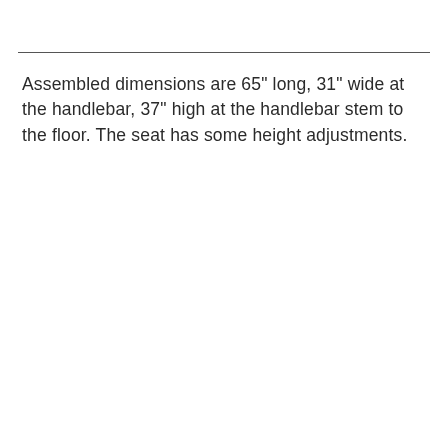Assembled dimensions are 65" long, 31" wide at the handlebar, 37" high at the handlebar stem to the floor. The seat has some height adjustments.